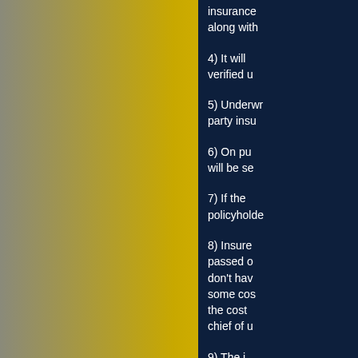[Figure (illustration): Large yellow/gold gradient rectangle on left two-thirds of page with gray fade on far left edge, serving as decorative background element]
insurance along with
4) It will verified u
5) Underwriting party insu
6) On pu will be se
7) If the policyhol
8) Insure passed o don't hav some cos the cost chief of u
9) The i